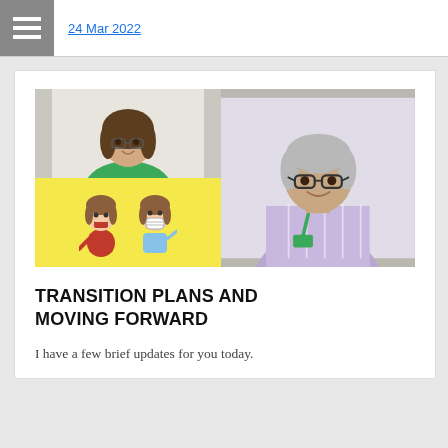24 Mar 2022
[Figure (photo): Composite image: top-left shows a woman with short brown hair wearing glasses and a green blazer, smiling; bottom-left shows two cartoon female emoji figures on a yellow background, one speaking and one wearing a mask; right side shows a man with glasses wearing a purple/white plaid shirt and a green lanyard badge, smiling.]
TRANSITION PLANS AND MOVING FORWARD
I have a few brief updates for you today.